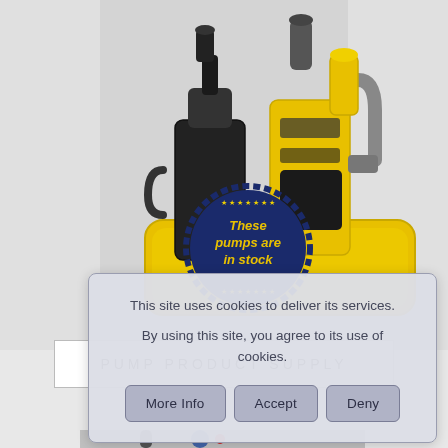[Figure (photo): Yellow and black industrial pump equipment (twin submersible pumps in yellow basin) with a dark blue circular badge/seal reading 'These pumps are in stock' in yellow text, displayed against a light grey background.]
PUMP PRODUCT SUPPLY
This site uses cookies to deliver its services.

By using this site, you agree to its use of cookies.
[Figure (screenshot): Cookie consent dialog box with buttons: More Info, Accept, Deny]
[Figure (photo): Partial view of pump equipment at the bottom of the page, showing a blue component with a red element.]